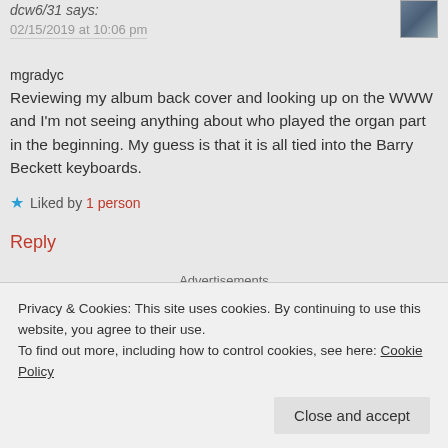dcw6/31 says:
02/15/2019 at 10:06 pm
mgradyc
Reviewing my album back cover and looking up on the WWW and I'm not seeing anything about who played the organ part in the beginning. My guess is that it is all tied into the Barry Beckett keyboards.
Liked by 1 person
Reply
Advertisements
Privacy & Cookies: This site uses cookies. By continuing to use this website, you agree to their use.
To find out more, including how to control cookies, see here: Cookie Policy
Close and accept
Jim Cerone says: